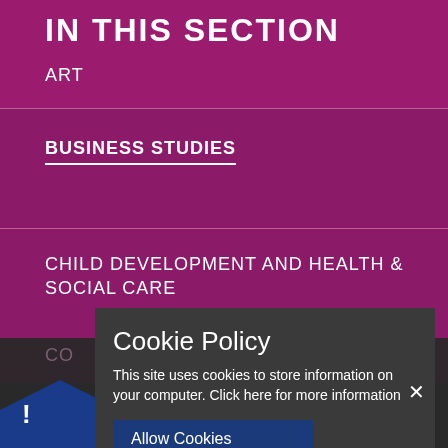IN THIS SECTION
ART
BUSINESS STUDIES
CHILD DEVELOPMENT AND HEALTH & SOCIAL CARE
CO...
ENG...
Cookie Policy
This site uses cookies to store information on your computer. Click here for more information
Allow Cookies
Cookie Settings